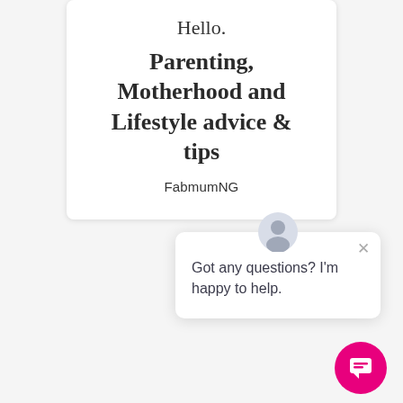[Figure (screenshot): Blog header card with script greeting 'Hello.', title text 'Parenting, Motherhood and Lifestyle advice & tips', and brand name 'FabmumNG']
[Figure (screenshot): Chat widget popup with avatar icon, close button X, and message 'Got any questions? I'm happy to help.' with a pink circular chat button in the bottom right corner]